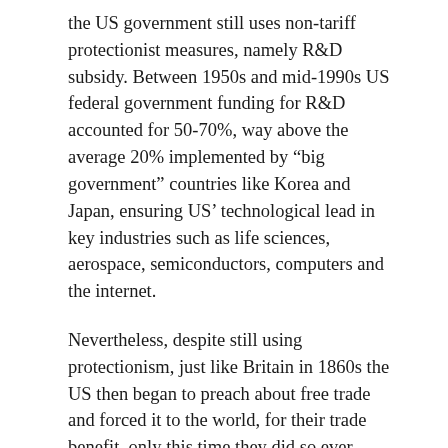the US government still uses non-tariff protectionist measures, namely R&D subsidy. Between 1950s and mid-1990s US federal government funding for R&D accounted for 50-70%, way above the average 20% implemented by “big government” countries like Korea and Japan, ensuring US’ technological lead in key industries such as life sciences, aerospace, semiconductors, computers and the internet.
Nevertheless, despite still using protectionism, just like Britain in 1860s the US then began to preach about free trade and forced it to the world, for their trade benefit, only this time they did so ever successfully through the Washington Consensus and the Dollar Hegemony.
Asia's reform